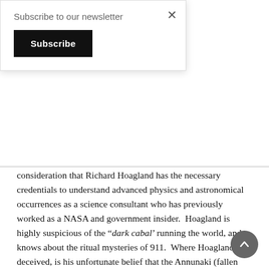Subscribe to our newsletter
Subscribe
consideration that Richard Hoagland has the necessary credentials to understand advanced physics and astronomical occurrences as a science consultant who has previously worked as a NASA and government insider.  Hoagland is highly suspicious of the “dark cabal’ running the world, and knows about the ritual mysteries of 911.  Where Hoagland is deceived, is his unfortunate belief that the Annunaki (fallen elohim) visitors have something positive to present to mankind.
The reason I focus on Hoagland is because he was the predominant authority on most subjects discussed during the conference and had the most to contribute.  Keep in mind, that Hoagland is technically a “New Ager” and believes in the forthcoming “awakening” as a positive thing, and sees the